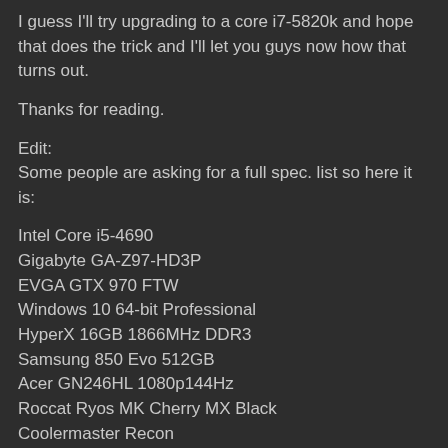I guess I'll try upgrading to a core i7-5820k and hope that does the trick and I'll let you guys now how that turns out.
Thanks for reading.
Edit:
Some people are asking for a full spec. list so here it is:
Intel Core i5-4690
Gigabyte GA-Z97-HD3P
EVGA GTX 970 FTW
Windows 10 64-bit Professional
HyperX 16GB 1866MHz DDR3
Samsung 850 Evo 512GB
Acer GN246HL 1080p144Hz
Roccat Ryos MK Cherry MX Black
Coolermaster Recon
Blue Yeti
Fiio E10K
Sennheiser HD598 Special Edition
Edit 2: